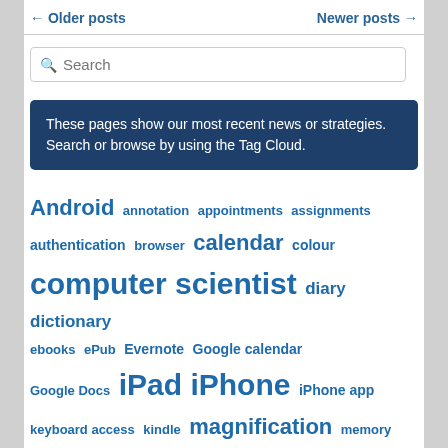← Older posts   Newer posts →
Search
These pages show our most recent news or strategies. Search or browse by using the Tag Cloud.
Android annotation appointments assignments authentication browser calendar colour computer scientist diary dictionary ebooks ePub Evernote Google calendar Google Docs iPad iPhone iPhone app keyboard access kindle magnification memory mouse notes note taking OCR OneNote